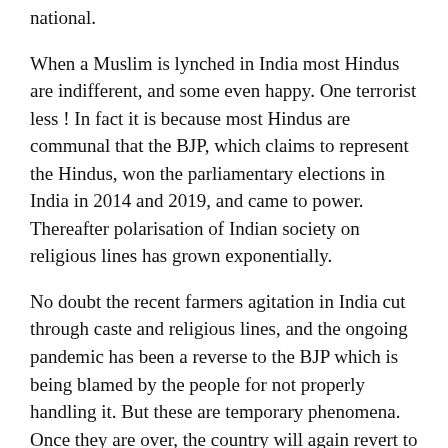national.
When a Muslim is lynched in India most Hindus are indifferent, and some even happy. One terrorist less ! In fact it is because most Hindus are communal that the BJP, which claims to represent the Hindus, won the parliamentary elections in India in 2014 and 2019, and came to power. Thereafter polarisation of Indian society on religious lines has grown exponentially.
No doubt the recent farmers agitation in India cut through caste and religious lines, and the ongoing pandemic has been a reverse to the BJP which is being blamed by the people for not properly handling it. But these are temporary phenomena. Once they are over, the country will again revert to the old status.
The truth is that secularism is a feature of